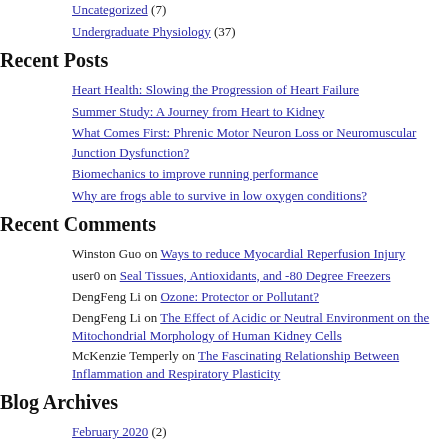Uncategorized (7)
Undergraduate Physiology (37)
Recent Posts
Heart Health: Slowing the Progression of Heart Failure
Summer Study: A Journey from Heart to Kidney
What Comes First: Phrenic Motor Neuron Loss or Neuromuscular Junction Dysfunction?
Biomechanics to improve running performance
Why are frogs able to survive in low oxygen conditions?
Recent Comments
Winston Guo on Ways to reduce Myocardial Reperfusion Injury
user0 on Seal Tissues, Antioxidants, and -80 Degree Freezers
DengFeng Li on Ozone: Protector or Pollutant?
DengFeng Li on The Effect of Acidic or Neutral Environment on the Mitochondrial Morphology of Human Kidney Cells
McKenzie Temperly on The Fascinating Relationship Between Inflammation and Respiratory Plasticity
Blog Archives
February 2020 (2)
January 2020 (2)
November 2019 (2)
October 2019 (3)
September 2019 (3)
August 2019 (4)